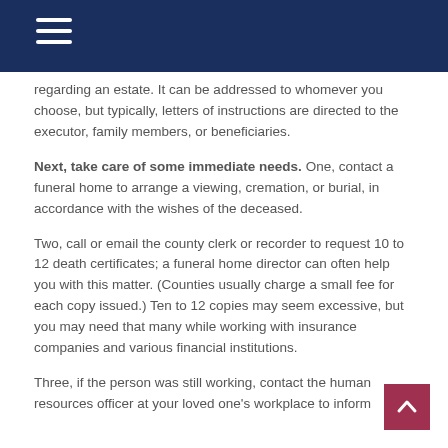regarding an estate. It can be addressed to whomever you choose, but typically, letters of instructions are directed to the executor, family members, or beneficiaries.
Next, take care of some immediate needs. One, contact a funeral home to arrange a viewing, cremation, or burial, in accordance with the wishes of the deceased.
Two, call or email the county clerk or recorder to request 10 to 12 death certificates; a funeral home director can often help you with this matter. (Counties usually charge a small fee for each copy issued.) Ten to 12 copies may seem excessive, but you may need that many while working with insurance companies and various financial institutions.
Three, if the person was still working, contact the human resources officer at your loved one's workplace to inform